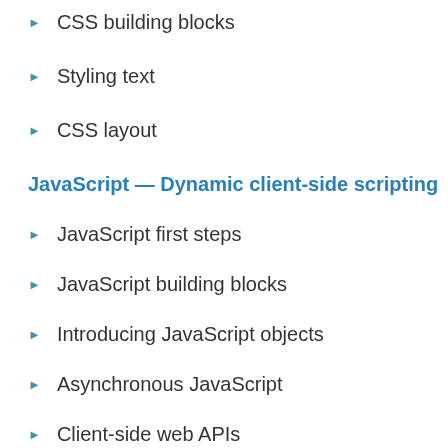CSS building blocks
Styling text
CSS layout
JavaScript — Dynamic client-side scripting
JavaScript first steps
JavaScript building blocks
Introducing JavaScript objects
Asynchronous JavaScript
Client-side web APIs
Web forms — Working with user data